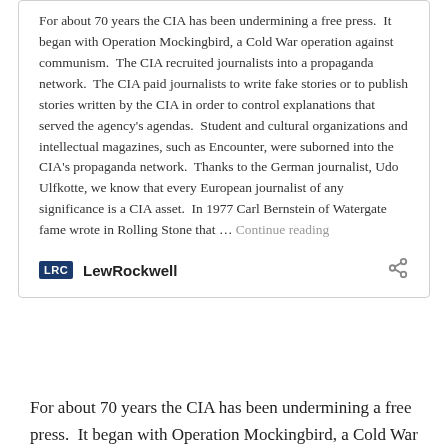For about 70 years the CIA has been undermining a free press. It began with Operation Mockingbird, a Cold War operation against communism. The CIA recruited journalists into a propaganda network. The CIA paid journalists to write fake stories or to publish stories written by the CIA in order to control explanations that served the agency's agendas. Student and cultural organizations and intellectual magazines, such as Encounter, were suborned into the CIA's propaganda network. Thanks to the German journalist, Udo Ulfkotte, we know that every European journalist of any significance is a CIA asset. In 1977 Carl Bernstein of Watergate fame wrote in Rolling Stone that … Continue reading
LewRockwell
For about 70 years the CIA has been undermining a free press. It began with Operation Mockingbird, a Cold War